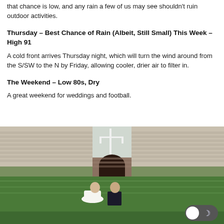that chance is low, and any rain a few of us may see shouldn't ruin outdoor activities.
Thursday – Best Chance of Rain (Albeit, Still Small) This Week – High 91
A cold front arrives Thursday night, which will turn the wind around from the S/SW to the N by Friday, allowing cooler, drier air to filter in.
The Weekend – Low 80s, Dry
A great weekend for weddings and football.
[Figure (photo): A bride in a white dress and groom in a black suit posing on a football field inside a stadium, with goalposts visible in the background.]